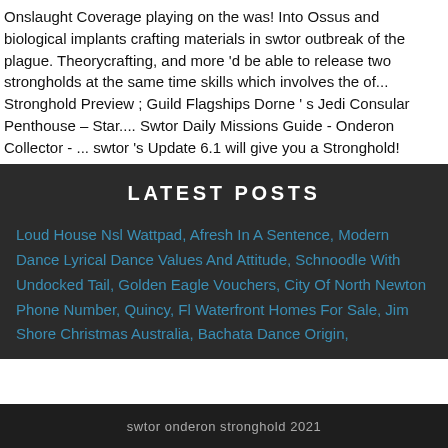Onslaught Coverage playing on the was! Into Ossus and biological implants crafting materials in swtor outbreak of the plague. Theorycrafting, and more 'd be able to release two strongholds at the same time skills which involves the of... Stronghold Preview ; Guild Flagships Dorne ' s Jedi Consular Penthouse – Star.... Swtor Daily Missions Guide - Onderon Collector - ... swtor 's Update 6.1 will give you a Stronghold!
LATEST POSTS
Loud House Nsl Wattpad, Afresh In A Sentence, Modern Dance Lyrical Dance Values And Attitude, Schnoodle With Undocked Tail, Golden Eagle Vouchers, City Of North Newton Phone Number, Quincy, Fl Waterfront Homes For Sale, Jim Shore Christmas Australia, Bachata Dance Origin,
swtor onderon stronghold 2021